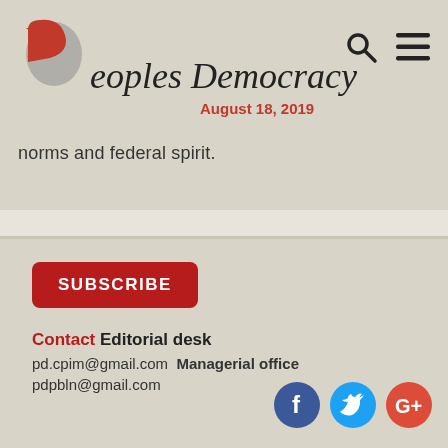Peoples Democracy — August 18, 2019
norms and federal spirit.
SUBSCRIBE
Contact Editorial desk
pd.cpim@gmail.com  Managerial office
pdpbln@gmail.com